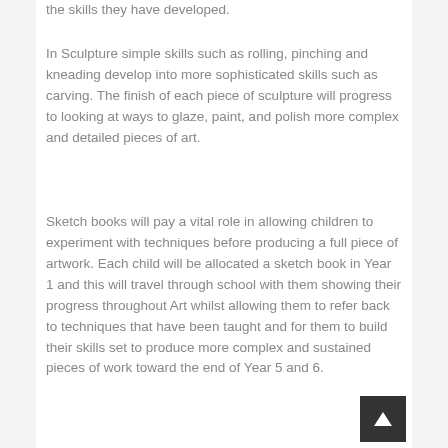the skills they have developed.
In Sculpture simple skills such as rolling, pinching and kneading develop into more sophisticated skills such as carving. The finish of each piece of sculpture will progress to looking at ways to glaze, paint, and polish more complex and detailed pieces of art.
Sketch books will pay a vital role in allowing children to experiment with techniques before producing a full piece of artwork. Each child will be allocated a sketch book in Year 1 and this will travel through school with them showing their progress throughout Art whilst allowing them to refer back to techniques that have been taught and for them to build their skills set to produce more complex and sustained pieces of work toward the end of Year 5 and 6.